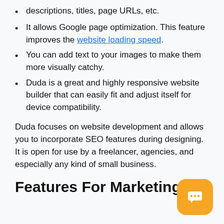descriptions, titles, page URLs, etc.
It allows Google page optimization. This feature improves the website loading speed.
You can add text to your images to make them more visually catchy.
Duda is a great and highly responsive website builder that can easily fit and adjust itself for device compatibility.
Duda focuses on website development and allows you to incorporate SEO features during designing. It is open for use by a freelancer, agencies, and especially any kind of small business.
Features For Marketing